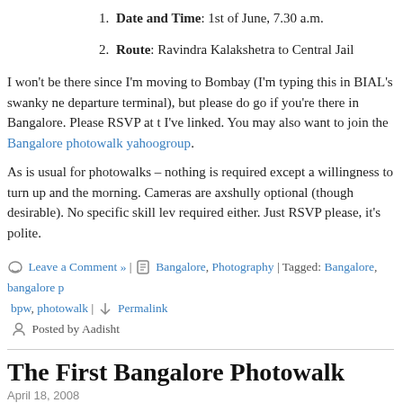1. Date and Time: 1st of June, 7.30 a.m.
2. Route: Ravindra Kalakshetra to Central Jail
I won't be there since I'm moving to Bombay (I'm typing this in BIAL's swanky new departure terminal), but please do go if you're there in Bangalore. Please RSVP at the I've linked. You may also want to join the Bangalore photowalk yahoogroup.
As is usual for photowalks – nothing is required except a willingness to turn up and the morning. Cameras are axshully optional (though desirable). No specific skill level required either. Just RSVP please, it's polite.
Leave a Comment » | Bangalore, Photography | Tagged: Bangalore, bangalore p bpw, photowalk | Permalink Posted by Aadisht
The First Bangalore Photowalk
April 18, 2008
After the grand success of the Sennai potowalks, Skimpy is organising the first ever Bangalore photowalk. Details below:
Time and Date: 8 a.m., on Sunday 27 April
Venue: K R Road, from K R Market to Gandhi Bazaar
All are welcome, regardless of city, caste, or camera. You can show up if you have…